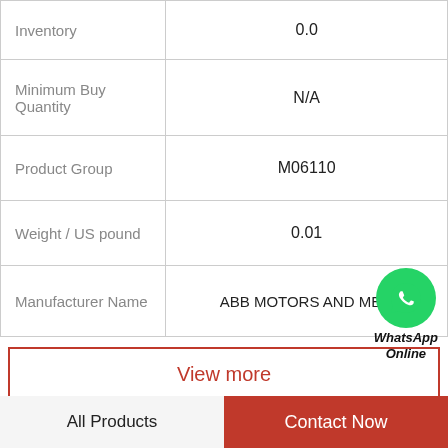|  |  |
| --- | --- |
| Inventory | 0.0 |
| Minimum Buy Quantity | N/A |
| Product Group | M06110 |
| Weight / US pound | 0.01 |
| Manufacturer Name | ABB MOTORS AND ME... |
View more
Company Profile
BEARING CORROE CANADA LTD
All Products    Contact Now